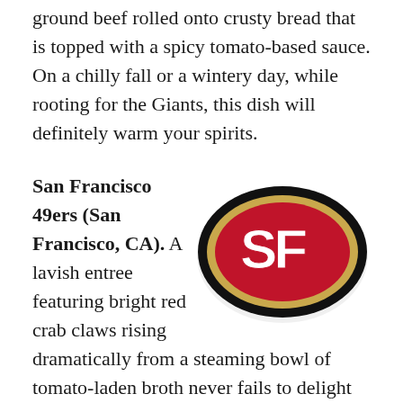ground beef rolled onto crusty bread that is topped with a spicy tomato-based sauce. On a chilly fall or a wintery day, while rooting for the Giants, this dish will definitely warm your spirits.
San Francisco 49ers (San Francisco, CA). A lavish entree featuring bright red crab claws rising dramatically from a steaming bowl of tomato-laden broth never fails to delight the eyes and taste buds. This iconic, San Francisco-native seafood stew called cioppino will bring a
[Figure (logo): San Francisco 49ers logo — an oval with black outer ring, gold inner ring, red field, and white interlocking 'SF' letters]